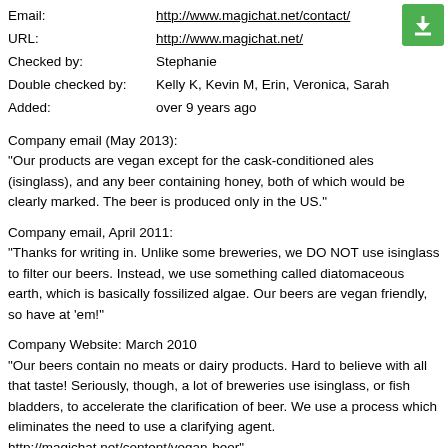Email: http://www.magichat.net/contact/
URL: http://www.magichat.net/
Checked by: Stephanie
Double checked by: Kelly K, Kevin M, Erin, Veronica, Sarah
Added: over 9 years ago
Company email (May 2013):
"Our products are vegan except for the cask-conditioned ales (isinglass), and any beer containing honey, both of which would be clearly marked. The beer is produced only in the US."
Company email, April 2011:
"Thanks for writing in. Unlike some breweries, we DO NOT use isinglass to filter our beers. Instead, we use something called diatomaceous earth, which is basically fossilized algae. Our beers are vegan friendly, so have at 'em!"
Company Website: March 2010
"Our beers contain no meats or dairy products. Hard to believe with all that taste! Seriously, though, a lot of breweries use isinglass, or fish bladders, to accelerate the clarification of beer. We use a process which eliminates the need to use a clarifying agent. http://magichat.net/content/vegan-beer"
Company email: 2009